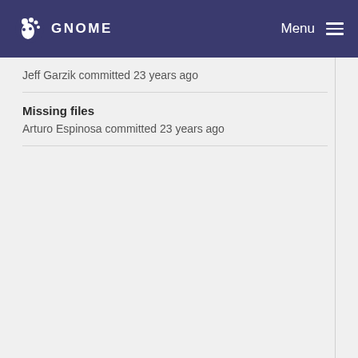GNOME  Menu
Jeff Garzik committed 23 years ago
Missing files
Arturo Espinosa committed 23 years ago